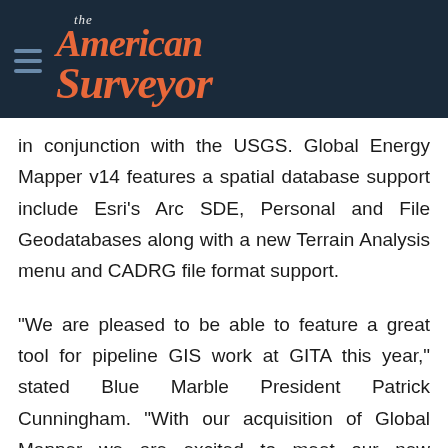the American Surveyor
in conjunction with the USGS. Global Energy Mapper v14 features a spatial database support include Esri’s Arc SDE, Personal and File Geodatabases along with a new Terrain Analysis menu and CADRG file format support.
“We are pleased to be able to feature a great tool for pipeline GIS work at GITA this year,” stated Blue Marble President Patrick Cunningham. “With our acquisition of Global Mapper we are excited to meet our new customers and demonstrate the latest and greatest the tool has to offer.”
About Blue Marble Geographics